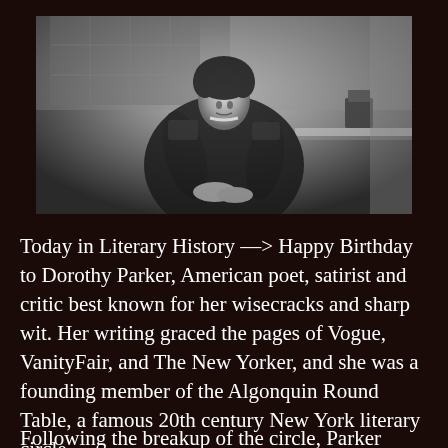[Figure (photo): Black and white photograph of Dorothy Parker, seated and posing, wearing a dark dress with embroidered sleeves, clasping her hands, with a plant and architectural elements in the background.]
Today in Literary History —> Happy Birthday to Dorothy Parker, American poet, satirist and critic best known for her wisecracks and sharp wit. Her writing graced the pages of Vogue, VanityFair, and The New Yorker, and she was a founding member of the Algonquin Round Table, a famous 20th century New York literary circle.
Following the breakup of the circle, Parker